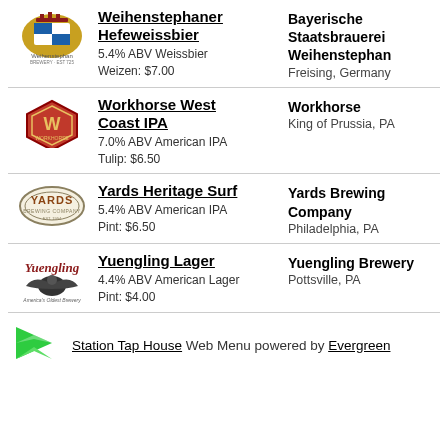Weihenstephaner Hefeweissbier | 5.4% ABV Weissbier | Weizen: $7.00 | Bayerische Staatsbrauerei Weihenstephan | Freising, Germany
Workhorse West Coast IPA | 7.0% ABV American IPA | Tulip: $6.50 | Workhorse | King of Prussia, PA
Yards Heritage Surf | 5.4% ABV American IPA | Pint: $6.50 | Yards Brewing Company | Philadelphia, PA
Yuengling Lager | 4.4% ABV American Lager | Pint: $4.00 | Yuengling Brewery | Pottsville, PA
Station Tap House Web Menu powered by Evergreen